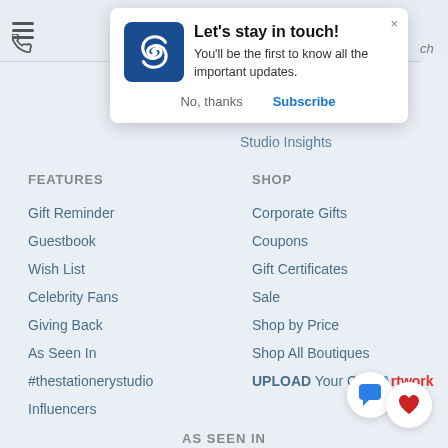[Figure (screenshot): Website screenshot showing a subscription popup notification with the Stationery Studio 'S' logo icon, titled 'Let’s stay in touch!' with body text 'You’ll be the first to know all the important updates.' and action buttons 'No, thanks' and 'Subscribe'.]
Online Policy
Press Room
Studio Insights
FEATURES
Gift Reminder
Guestbook
Wish List
Celebrity Fans
Giving Back
As Seen In
#thestationerystudio
Influencers
SHOP
Corporate Gifts
Coupons
Gift Certificates
Sale
Shop by Price
Shop All Boutiques
UPLOAD Your Own Artwork
AS SEEN IN